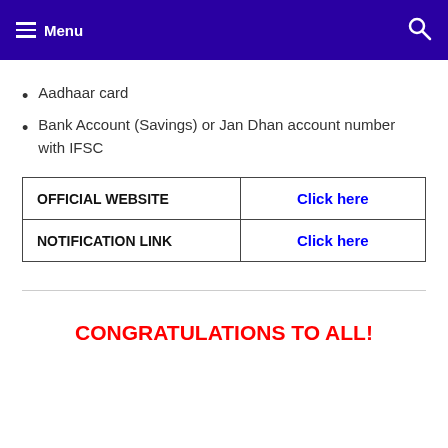Menu
Aadhaar card
Bank Account (Savings) or Jan Dhan account number with IFSC
| OFFICIAL WEBSITE | Click here |
| NOTIFICATION LINK | Click here |
CONGRATULATIONS TO ALL!